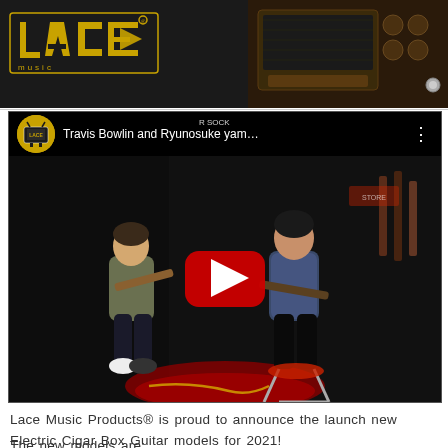[Figure (screenshot): Top banner with Lace Music Products logo on dark background, with amp/case visible on the right side]
[Figure (screenshot): YouTube video embed showing Travis Bowlin and Ryunosuke yam... playing guitars in a music store, with YouTube play button overlay. Video title shown in top bar with Lace channel icon.]
Lace Music Products® is proud to announce the launch new Electric Cigar Box Guitar models for 2021!
The new models are: